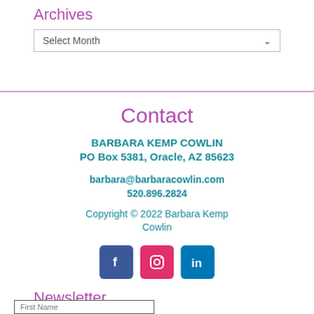Archives
[Figure (other): Dropdown select box with label 'Select Month']
Contact
BARBARA KEMP COWLIN
PO Box 5381, Oracle, AZ 85623
barbara@barbaracowlin.com
520.896.2824
Copyright © 2022 Barbara Kemp Cowlin
[Figure (other): Social media icons for Facebook, Instagram, and LinkedIn]
Newsletter
[Figure (other): Text input field labeled 'First Name']